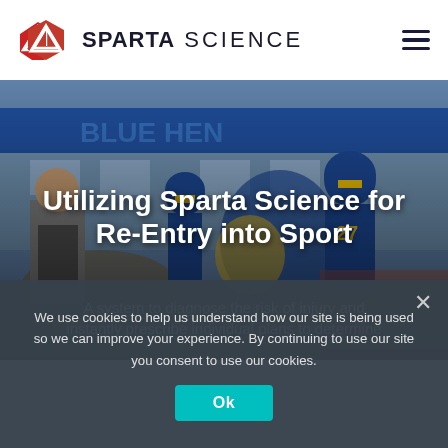SPARTA SCIENCE
[Figure (photo): Football players in blue and gold helmets and uniforms running onto a field, with a coach walking alongside them. Stadium background with blue and yellow signage.]
Utilizing Sparta Science for Re-Entry into Sport
A system to diagnose the risk of injury and instantly prescribe individual plans to determine
We use cookies to help us understand how our site is being used so we can improve your experience. By continuing to use our site you consent to use our cookies.